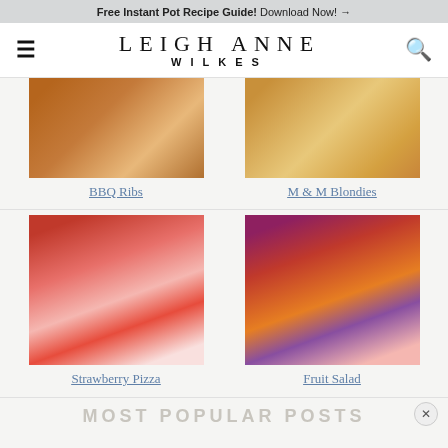Free Instant Pot Recipe Guide! Download Now! →
LEIGH ANNE WILKES
[Figure (photo): Photo of BBQ Ribs on a plate]
BBQ Ribs
[Figure (photo): Photo of M & M Blondies stacked]
M & M Blondies
[Figure (photo): Photo of Strawberry Pizza cut into squares]
Strawberry Pizza
[Figure (photo): Photo of Fruit Salad in a bowl]
Fruit Salad
MOST POPULAR POSTS